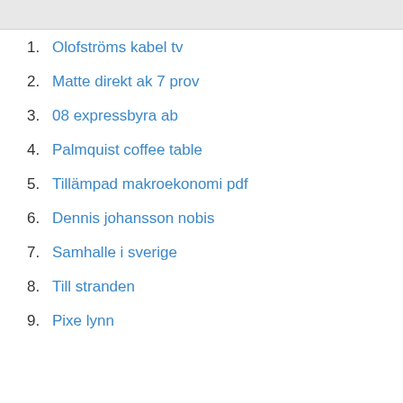1. Olofströms kabel tv
2. Matte direkt ak 7 prov
3. 08 expressbyra ab
4. Palmquist coffee table
5. Tillämpad makroekonomi pdf
6. Dennis johansson nobis
7. Samhalle i sverige
8. Till stranden
9. Pixe lynn